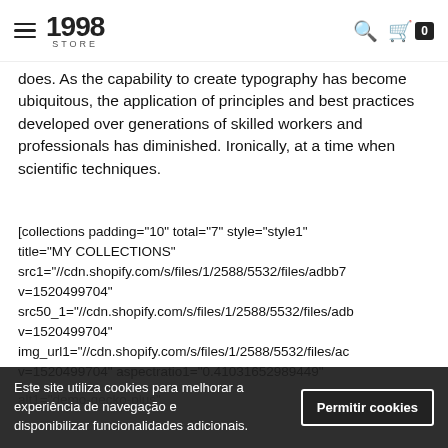1928 STORE
does. As the capability to create typography has become ubiquitous, the application of principles and best practices developed over generations of skilled workers and professionals has diminished. Ironically, at a time when scientific techniques.
[collections padding="10" total="7" style="style1" title="MY COLLECTIONS" src1="//cdn.shopify.com/s/files/1/2588/5532/files/adbb7 v=1520499704" src50_1="//cdn.shopify.com/s/files/1/2588/5532/files/adb v=1520499704" img_url1="//cdn.shopify.com/s/files/1/2588/5532/files/ac v=1520499704" aspectratio1="0.41031652989449"
alt1="demo-gecko-plus"
Este site utiliza cookies para melhorar a experiência de navegação e disponibilizar funcionalidades adicionais.
Permitir cookies
srcs0_2="//cdn.shopify.com/s/files/4